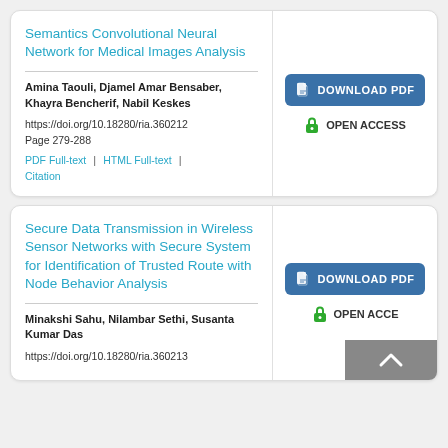Semantics Convolutional Neural Network for Medical Images Analysis
Amina Taouli, Djamel Amar Bensaber, Khayra Bencherif, Nabil Keskes
https://doi.org/10.18280/ria.360212
Page 279-288
PDF Full-text | HTML Full-text | Citation
Secure Data Transmission in Wireless Sensor Networks with Secure System for Identification of Trusted Route with Node Behavior Analysis
Minakshi Sahu, Nilambar Sethi, Susanta Kumar Das
https://doi.org/10.18280/ria.360213